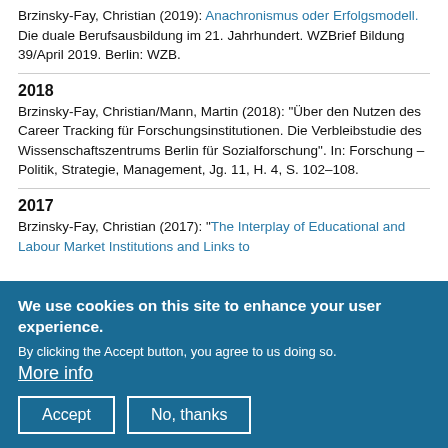Sociology of EducationEdward Elgar, S. 575-585.
Brzinsky-Fay, Christian (2019): Anachronismus oder Erfolgsmodell. Die duale Berufsausbildung im 21. Jahrhundert. WZBrief Bildung 39/April 2019. Berlin: WZB.
2018
Brzinsky-Fay, Christian/Mann, Martin (2018): "Über den Nutzen des Career Tracking für Forschungsinstitutionen. Die Verbleibstudie des Wissenschaftszentrums Berlin für Sozialforschung". In: Forschung – Politik, Strategie, Management, Jg. 11, H. 4, S. 102–108.
2017
Brzinsky-Fay, Christian (2017): "The Interplay of Educational and Labour Market Institutions and Links to
We use cookies on this site to enhance your user experience.

By clicking the Accept button, you agree to us doing so.
More info